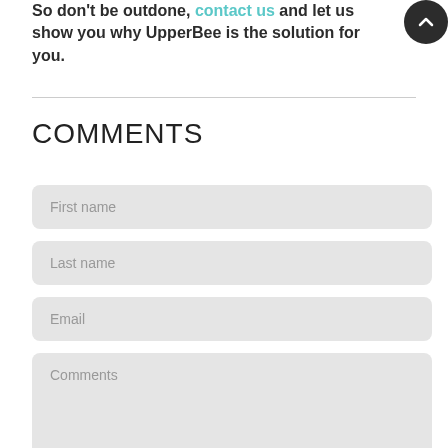So don't be outdone, contact us and let us show you why UpperBee is the solution for you.
COMMENTS
First name
Last name
Email
Comments